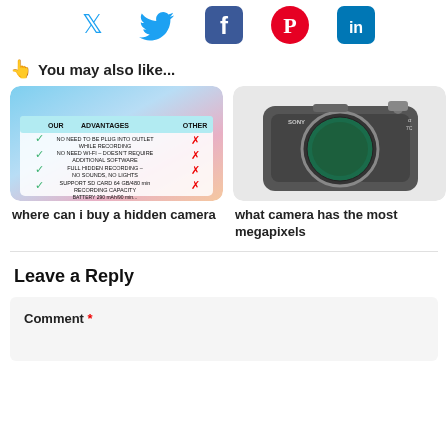[Figure (infographic): Social media sharing icons: Twitter (blue bird), Facebook (blue f), Pinterest (red P circle), LinkedIn (blue in square)]
👆 You may also like...
[Figure (photo): Hidden camera advantages comparison table image showing OUR vs OTHER columns with checkmarks and X marks]
where can i buy a hidden camera
[Figure (photo): Sony mirrorless camera body without lens, showing sensor]
what camera has the most megapixels
Leave a Reply
Comment *